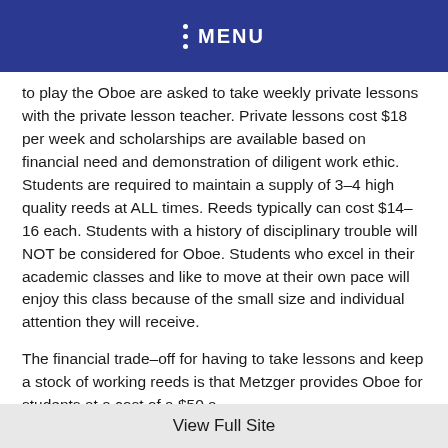MENU
to play the Oboe are asked to take weekly private lessons with the private lesson teacher. Private lessons cost $18 per week and scholarships are available based on financial need and demonstration of diligent work ethic. Students are required to maintain a supply of 3-4 high quality reeds at ALL times. Reeds typically can cost $14-16 each. Students with a history of disciplinary trouble will NOT be considered for Oboe. Students who excel in their academic classes and like to move at their own pace will enjoy this class because of the small size and individual attention they will receive.
The financial trade-off for having to take lessons and keep a stock of working reeds is that Metzger provides Oboe for students at a cost of a $50 a...
View Full Site